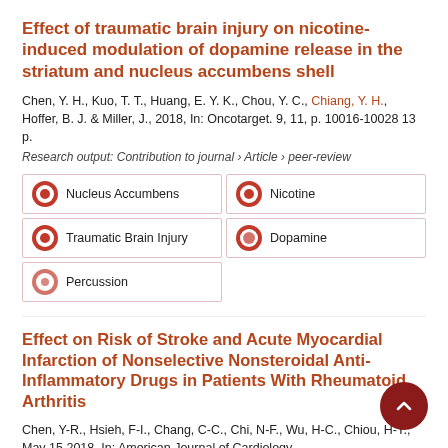Effect of traumatic brain injury on nicotine-induced modulation of dopamine release in the striatum and nucleus accumbens shell
Chen, Y. H., Kuo, T. T., Huang, E. Y. K., Chou, Y. C., Chiang, Y. H., Hoffer, B. J. & Miller, J., 2018, In: Oncotarget. 9, 11, p. 10016-10028 13 p.
Research output: Contribution to journal › Article › peer-review
| Nucleus Accumbens | Nicotine |
| Traumatic Brain Injury | Dopamine |
| Percussion |  |
Effect on Risk of Stroke and Acute Myocardial Infarction of Nonselective Nonsteroidal Anti-Inflammatory Drugs in Patients With Rheumatoid Arthritis
Chen, Y-R., Hsieh, F-I., Chang, C-C., Chi, N-F., Wu, H-C., Chiou, H-Y., May 15 2018, In: American Journal of Cardiology.